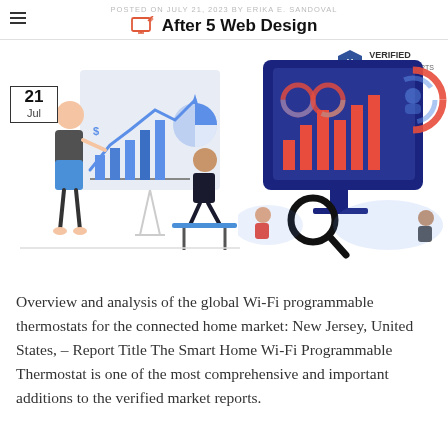POSTED ON JULY 21, 2023 BY ERIKA E. SANDOVAL
After 5 Web Design
[Figure (illustration): Two illustrations side by side: left shows a person presenting charts on a whiteboard to a seated colleague; right shows a large monitor displaying data dashboards with analytics figures and people examining data. A 'Verified Market Reports' logo appears in the top right. A date badge '21 Jul' appears top left.]
Overview and analysis of the global Wi-Fi programmable thermostats for the connected home market: New Jersey, United States, – Report Title The Smart Home Wi-Fi Programmable Thermostat is one of the most comprehensive and important additions to the verified market reports.